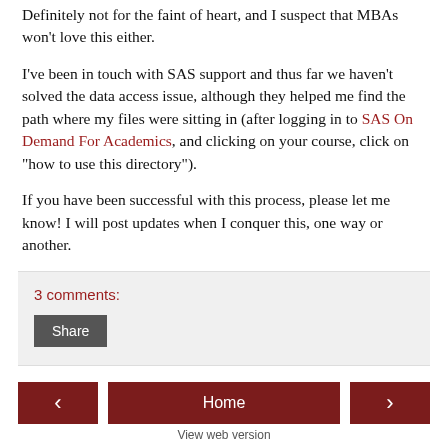Definitely not for the faint of heart, and I suspect that MBAs won't love this either.
I've been in touch with SAS support and thus far we haven't solved the data access issue, although they helped me find the path where my files were sitting in (after logging in to SAS On Demand For Academics, and clicking on your course, click on "how to use this directory").
If you have been successful with this process, please let me know! I will post updates when I conquer this, one way or another.
3 comments:
Share
< Home >